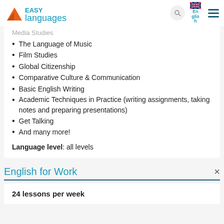Easy Languages
The Language of Music
Film Studies
Global Citizenship
Comparative Culture & Communication
Basic English Writing
Academic Techniques in Practice (writing assignments, taking notes and preparing presentations)
Get Talking
And many more!
Language level: all levels
English for Work
24 lessons per week